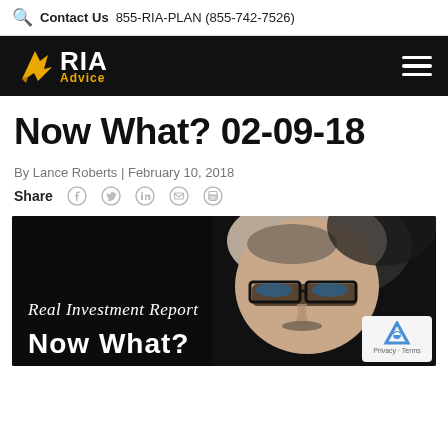Contact Us  855-RIA-PLAN (855-742-7526)
[Figure (logo): RIA Advice logo with eagle icon on black navigation bar with hamburger menu]
Now What? 02-09-18
By Lance Roberts | February 10, 2018
Share [Facebook] [Twitter] [LinkedIn] [Email] [Print]
[Figure (illustration): Dark background image showing an illustrated/stylized man with glasses; text reads 'Real Investment Report' in script and 'Now What?' in bold white letters at the bottom]